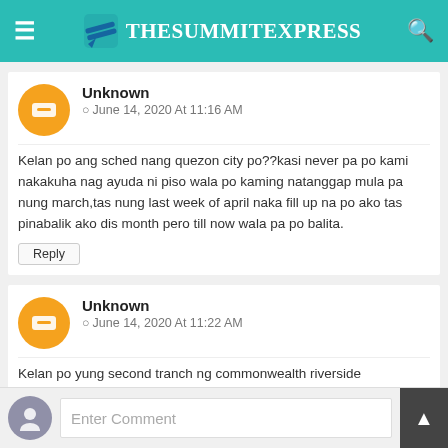TheSummitExpress
Unknown
○ June 14, 2020 At 11:16 AM

Kelan po ang sched nang quezon city po??kasi never pa po kami nakakuha nag ayuda ni piso wala po kaming natanggap mula pa nung march,tas nung last week of april naka fill up na po ako tas pinabalik ako dis month pero till now wala pa po balita.
Reply
Unknown
○ June 14, 2020 At 11:22 AM

Kelan po yung second tranch ng commonwealth riverside
Reply
Enter Comment